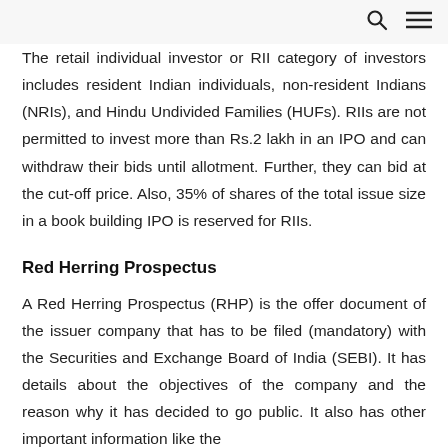🔍 ≡
The retail individual investor or RII category of investors includes resident Indian individuals, non-resident Indians (NRIs), and Hindu Undivided Families (HUFs). RIIs are not permitted to invest more than Rs.2 lakh in an IPO and can withdraw their bids until allotment. Further, they can bid at the cut-off price. Also, 35% of shares of the total issue size in a book building IPO is reserved for RIIs.
Red Herring Prospectus
A Red Herring Prospectus (RHP) is the offer document of the issuer company that has to be filed (mandatory) with the Securities and Exchange Board of India (SEBI). It has details about the objectives of the company and the reason why it has decided to go public. It also has other important information like the